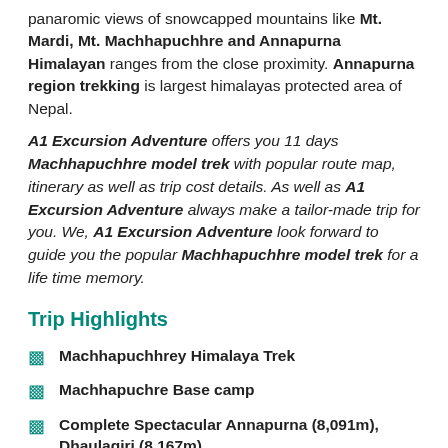panaromic views of snowcapped mountains like Mt. Mardi, Mt. Machhapuchhre and Annapurna Himalayan ranges from the close proximity. Annapurna region trekking is largest himalayas protected area of Nepal.
A1 Excursion Adventure offers you 11 days Machhapuchhre model trek with popular route map, itinerary as well as trip cost details. As well as A1 Excursion Adventure always make a tailor-made trip for you. We, A1 Excursion Adventure look forward to guide you the popular Machhapuchhre model trek for a life time memory.
Trip Highlights
Machhapuchhrey Himalaya Trek
Machhapuchre Base camp
Complete Spectacular Annapurna (8,091m), Dhaulagiri (8,167m)
Rhododendron forests- National flowers